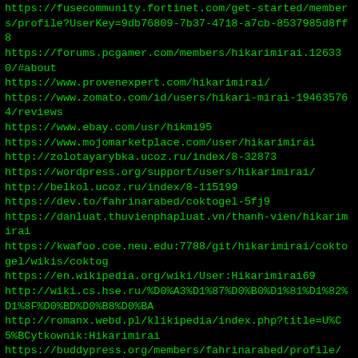https://fusecommunity.fortinet.com/get-started/members/profile?UserKey=9db76809-7b37-4718-a7cb-8537985d8ff8
https://forums.pcgamer.com/members/hikarimirai.126330/#about
https://www.provenexpert.com/hikarimirai/
https://www.zomato.com/id/users/hikari-mirai-194635764/reviews
https://www.ebay.com/usr/hikmi95
https://www.mojomarketplace.com/user/hikarimirai
http://zolotayarybka.ucoz.ru/index/8-32873
https://wordpress.org/support/users/hikarimirai/
http://belkol.ucoz.ru/index/8-115199
https://dev.to/fahrinarabed/coktogel-5fj9
https://danluat.thuvienphapluat.vn/thanh-vien/hikarimirai
https://kwafoo.coe.neu.edu:7788/git/hikarimirai/coktogel/wikis/coktog
https://en.wikipedia.org/wiki/User:Hikarimirai69
http://wiki.cs.hse.ru/%D0%A3%D1%87%D0%B0%D1%81%D1%82%D1%82%D0%BD%D0%B8%D0%BA
http://romanx.webd.pl/klikipedia/index.php?title=U%C5%BCytkownik:Hikarimirai
https://buddypress.org/members/fahrinarabed/profile/
https://wordpress.org/support/users/fahrinarabed/
http://belkol.ucoz.ru/index/8-115201
https://forums.edmunds.com/profile/fahrinarabed23 http://hunt-gitlab.medisin.ntnu.no/fahrinarabed/coktogel/-/wikis/coktogel
https://core-gitlfs.tpi.uni-jena.de/fahrinarabed/coktogel/-/wikis/coktogel